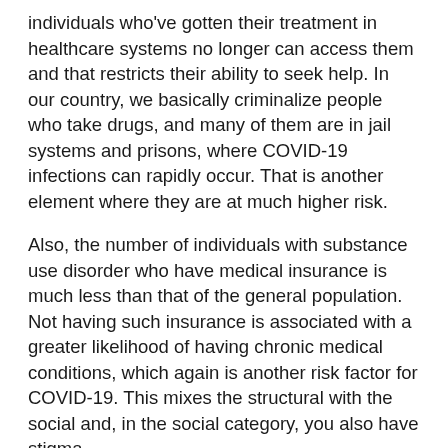individuals who've gotten their treatment in healthcare systems no longer can access them and that restricts their ability to seek help. In our country, we basically criminalize people who take drugs, and many of them are in jail systems and prisons, where COVID-19 infections can rapidly occur. That is another element where they are at much higher risk.
Also, the number of individuals with substance use disorder who have medical insurance is much less than that of the general population. Not having such insurance is associated with a greater likelihood of having chronic medical conditions, which again is another risk factor for COVID-19. This mixes the structural with the social and, in the social category, you also have stigma.
Stigmatizing individuals with addiction makes them very vulnerable. That's because, first of all, they are afraid to seek help—they don't want to be discriminated against. Secondly, if they are in a situation where decisions are being made about providing medical care when resources are limited, that stigma can make them much more vulnerable.